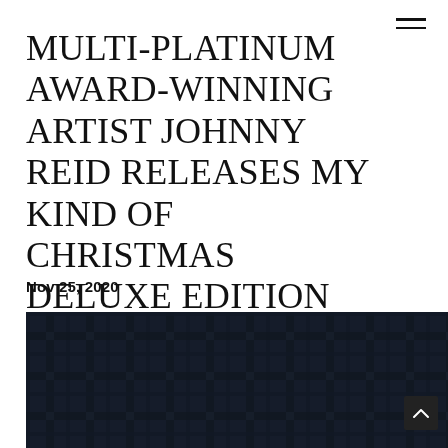MULTI-PLATINUM AWARD-WINNING ARTIST JOHNNY REID RELEASES MY KIND OF CHRISTMAS DELUXE EDITION DIGITALLY OUT TODAY
Nov 25, 2020
[Figure (photo): Dark navy/black plaid tartan fabric pattern photograph]